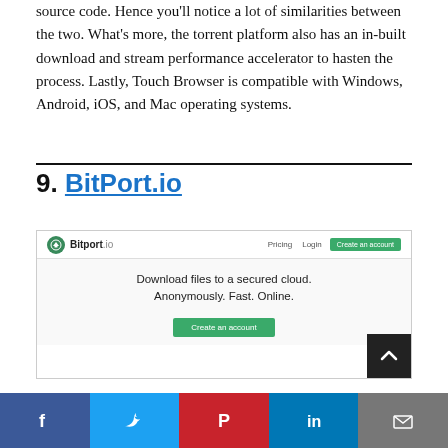source code. Hence you'll notice a lot of similarities between the two. What's more, the torrent platform also has an in-built download and stream performance accelerator to hasten the process. Lastly, Touch Browser is compatible with Windows, Android, iOS, and Mac operating systems.
9. BitPort.io
[Figure (screenshot): Screenshot of the Bitport.io website showing navigation bar with logo, Pricing, Login, and Create an account button in green. Body shows text: Download files to a secured cloud. Anonymously. Fast. Online. with a green Create an account button.]